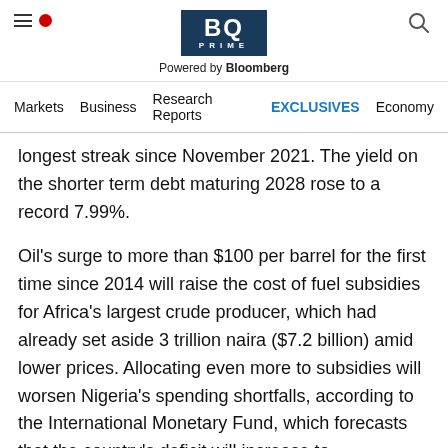BQ PRIME — Powered by Bloomberg
Markets  Business  Research Reports  EXCLUSIVES  Economy
longest streak since November 2021. The yield on the shorter term debt maturing 2028 rose to a record 7.99%.
Oil's surge to more than $100 per barrel for the first time since 2014 will raise the cost of fuel subsidies for Africa's largest crude producer, which had already set aside 3 trillion naira ($7.2 billion) amid lower prices. Allocating even more to subsidies will worsen Nigeria's spending shortfalls, according to the International Monetary Fund, which forecasts that the country's deficit will increase to 6.4% of gross domestic product this year from…